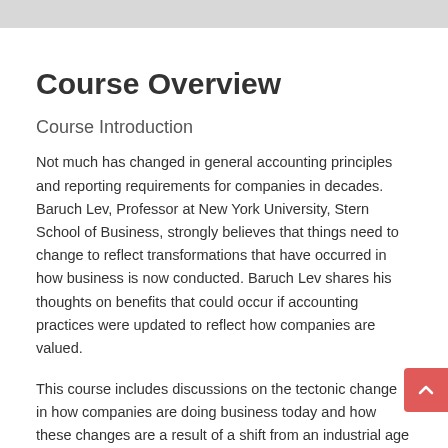Course Overview
Course Introduction
Not much has changed in general accounting principles and reporting requirements for companies in decades. Baruch Lev, Professor at New York University, Stern School of Business, strongly believes that things need to change to reflect transformations that have occurred in how business is now conducted. Baruch Lev shares his thoughts on benefits that could occur if accounting practices were updated to reflect how companies are valued.
This course includes discussions on the tectonic change in how companies are doing business today and how these changes are a result of a shift from an industrial age to knowledge and information focused businesses. Professor Lev shares his definition of a knowledge-based economy. He explains why